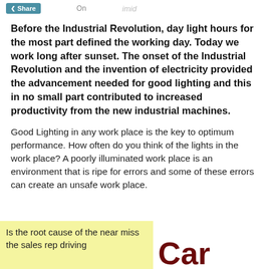Share | On | imid
Before the Industrial Revolution, day light hours for the most part defined the working day. Today we work long after sunset. The onset of the Industrial Revolution and the invention of electricity provided the advancement needed for good lighting and this in no small part contributed to increased productivity from the new industrial machines.
Good Lighting in any work place is the key to optimum performance. How often do you think of the lights in the work place? A poorly illuminated work place is an environment that is ripe for errors and some of these errors can create an unsafe work place.
Is the root cause of the near miss the sales rep driving
Car